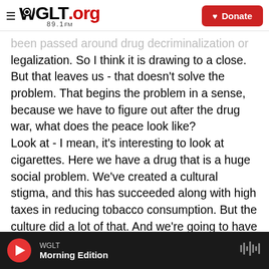WGLT.org 89.1FM | Donate
been passed around drug decriminalization or legalization. So I think it is drawing to a close. But that leaves us - that doesn't solve the problem. That begins the problem in a sense, because we have to figure out after the drug war, what does the peace look like?
Look at - I mean, it's interesting to look at cigarettes. Here we have a drug that is a huge social problem. We've created a cultural stigma, and this has succeeded along with high taxes in reducing tobacco consumption. But the culture did a lot of that. And we're going to have to figure out as a culture, in conversation, how we want to deal
WGLT
Morning Edition